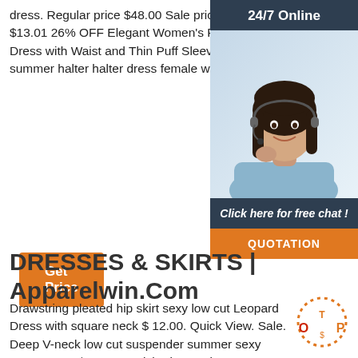dress. Regular price $48.00 Sale price $34.99 Save $13.01 26% OFF Elegant Women's Puff Sleeve Dress with Waist and Thin Puff Sleeve ... Fashion summer halter halter dress female waist bag hip skirt.
Get Price
[Figure (photo): Customer service representative with headset, smiling. Widget showing '24/7 Online', 'Click here for free chat!', and 'QUOTATION' button.]
DRESSES & SKIRTS | Apparelwin.Com
Drawstring pleated hip skirt sexy low cut Leopard Dress with square neck $ 12.00. Quick View. Sale. Deep V-neck low cut suspender summer sexy Prom Dress $ 15.00. Quick View. Sale.
[Figure (logo): TOP badge logo with orange dotted circle and orange/red text]